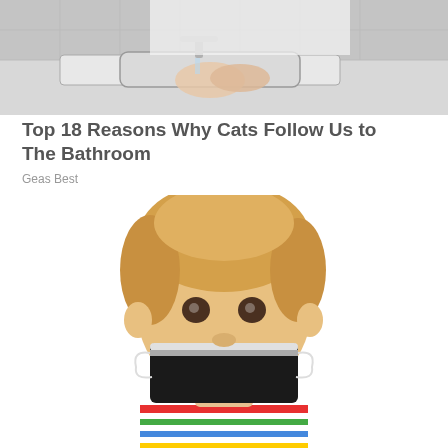[Figure (photo): Person washing hands at a bathroom sink, wearing a white shirt, viewed from above/side angle.]
Top 18 Reasons Why Cats Follow Us to The Bathroom
Geas Best
[Figure (photo): Young blonde child wearing a black face mask and a colorful striped shirt, looking at the camera against a white background.]